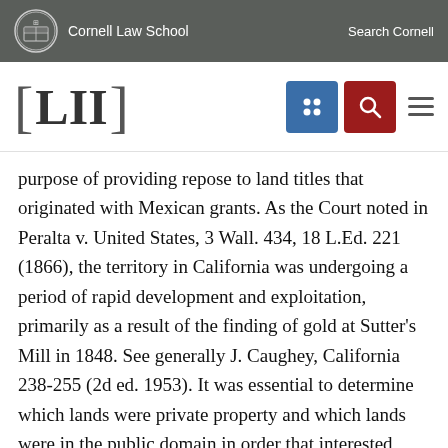Cornell Law School   Search Cornell
[Figure (logo): LII Legal Information Institute logo with navigation icons]
purpose of providing repose to land titles that originated with Mexican grants. As the Court noted in Peralta v. United States, 3 Wall. 434, 18 L.Ed. 221 (1866), the territory in California was undergoing a period of rapid development and exploitation, primarily as a result of the finding of gold at Sutter's Mill in 1848. See generally J. Caughey, California 238-255 (2d ed. 1953). It was essential to determine which lands were private property and which lands were in the public domain in order that interested parties could determine what land was available from the Government. The 1851 Act was intended "to place the titles to land in California upon a stable foundation, and to give the